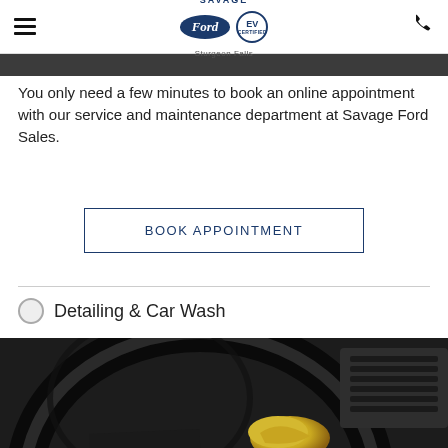Savage Ford Sturgeon Falls — navigation header with logo and phone icon
[Figure (photo): Dark top image strip — partial photo of car service]
You only need a few minutes to book an online appointment with our service and maintenance department at Savage Ford Sales.
BOOK APPOINTMENT
Detailing & Car Wash
[Figure (photo): Close-up photo of a car steering wheel being cleaned with a yellow microfiber cloth]